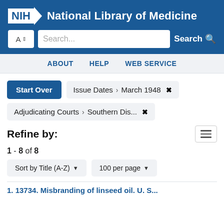NIH National Library of Medicine
Search...  Search
ABOUT  HELP  WEB SERVICE
Start Over   Issue Dates › March 1948  ✕
Adjudicating Courts › Southern Dis...  ✕
Refine by:
1 - 8 of 8
Sort by Title (A-Z)   100 per page
1. 13734. Misbranding of linseed oil. U. S...